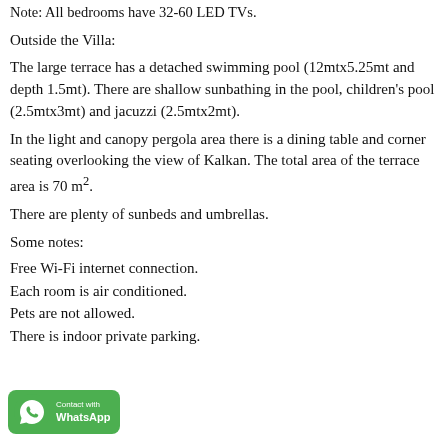Note: All bedrooms have 32-60 LED TVs.
Outside the Villa:
The large terrace has a detached swimming pool (12mtx5.25mt and depth 1.5mt). There are shallow sunbathing in the pool, children's pool (2.5mtx3mt) and jacuzzi (2.5mtx2mt).
In the light and canopy pergola area there is a dining table and corner seating overlooking the view of Kalkan. The total area of the terrace area is 70 m².
There are plenty of sunbeds and umbrellas.
Some notes:
Free Wi-Fi internet connection.
Each room is air conditioned.
Pets are not allowed.
There is indoor private parking.
[Figure (other): WhatsApp contact button overlay in green at bottom-left corner]